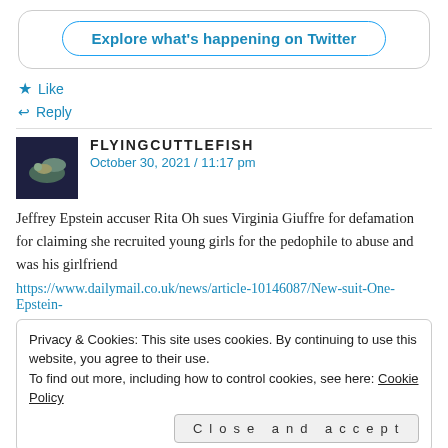[Figure (screenshot): Twitter 'Explore what's happening on Twitter' button in a rounded box]
★ Like
↩ Reply
FLYINGCUTTLEFISH
October 30, 2021 / 11:17 pm
Jeffrey Epstein accuser Rita Oh sues Virginia Giuffre for defamation for claiming she recruited young girls for the pedophile to abuse and was his girlfriend
https://www.dailymail.co.uk/news/article-10146087/New-suit-One-Epstein-
Privacy & Cookies: This site uses cookies. By continuing to use this website, you agree to their use.
To find out more, including how to control cookies, see here: Cookie Policy
Close and accept